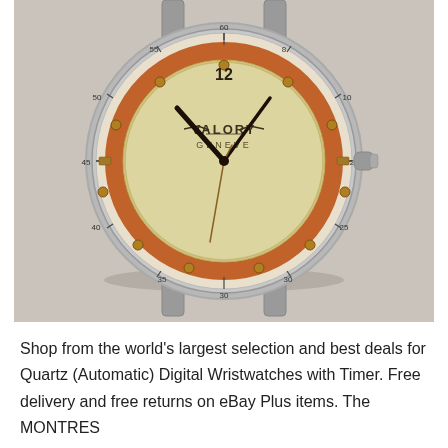[Figure (photo): Vintage Valory Geneve wristwatch with cream/aged dial, orange/amber bezel ring, tachymeter scale on outer rim, circular dot hour markers, and dark sword-style hands. The watch has a steel case with integrated lugs and a crown on the right side. The dial reads 'VALORY' with a winged logo above 'GENEVE'. Background is a light gray surface.]
Shop from the world's largest selection and best deals for Quartz (Automatic) Digital Wristwatches with Timer. Free delivery and free returns on eBay Plus items. The MONTRES